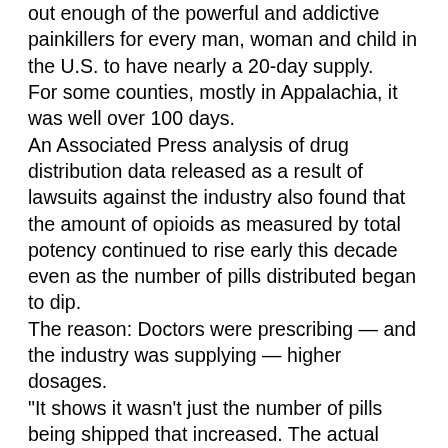out enough of the powerful and addictive painkillers for every man, woman and child in the U.S. to have nearly a 20-day supply.
For some counties, mostly in Appalachia, it was well over 100 days.
An Associated Press analysis of drug distribution data released as a result of lawsuits against the industry also found that the amount of opioids as measured by total potency continued to rise early this decade even as the number of pills distributed began to dip.
The reason: Doctors were prescribing — and the industry was supplying — higher dosages.
"It shows it wasn't just the number of pills being shipped that increased. The actual amount of opioids being prescribed and consumed went up," said Anna Lembke, a Stanford University professor who researches opioids and is serving as a paid expert witness for plaintiffs in the litigation.
"We know that the higher the dose of prescribed opioids, and the longer patients are on them, even for a legitimate pain condition, the more likely they are to get addicted."
The AP found that the overall amount of opioid medication shipped to pharmacies, medical providers and hospitals increased 55% from 2006 through 2012. The number of